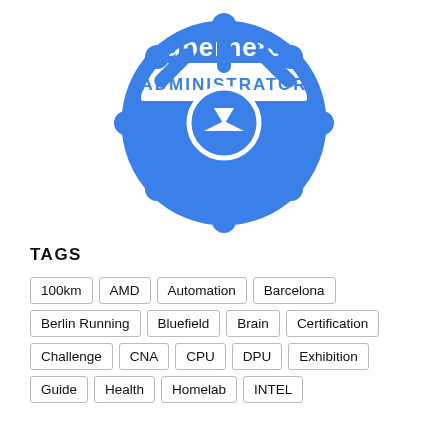[Figure (logo): Kubernetes Administrator logo: blue ship wheel / helm icon with white text 'kubernetes' and white rectangle containing blue text 'ADMINISTRATOR']
TAGS
100km
AMD
Automation
Barcelona
Berlin Running
Bluefield
Brain
Certification
Challenge
CNA
CPU
DPU
Exhibition
Guide
Health
Homelab
INTEL